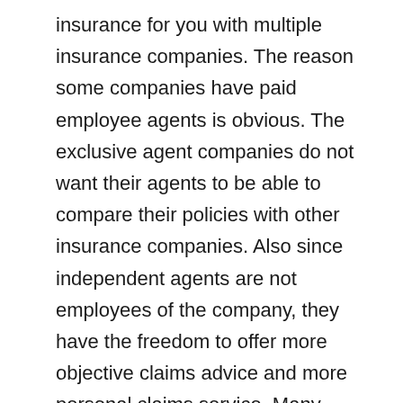insurance for you with multiple insurance companies. The reason some companies have paid employee agents is obvious. The exclusive agent companies do not want their agents to be able to compare their policies with other insurance companies. Also since independent agents are not employees of the company, they have the freedom to offer more objective claims advice and more personal claims service. Many exclusive agent companies require their policyholders to call an 800 number rather than call their agent. Once this number is called, the potential claim goes on a claim record whether or not it is covered by the policy. The personal, customized service provided by independent agents has stood the test of time as the number of independent agencies has grown dramatically in the 21st century.